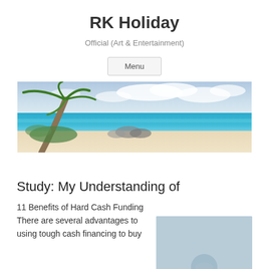RK Holiday
Official (Art & Entertainment)
Menu
[Figure (photo): Wide panoramic beach scene with a palm tree leaning from the left, turquoise ocean water, sandy beach, rocks, and a partly cloudy blue sky.]
Study: My Understanding of
11 Benefits of Hard Cash Funding There are several advantages to using tough cash financing to buy
[Figure (photo): Thumbnail image with light blue/grey background, partially visible.]